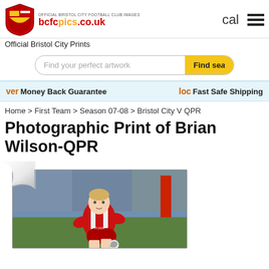[Figure (logo): Bristol City Football Club crest/shield logo in red and gold, alongside bcfcpics.co.uk website logo in red/orange text]
Official Bristol City Prints
Find your perfect artwork  Find se
ver Money Back Guarantee   loc Fast Safe Shipping
Home > First Team > Season 07-08 > Bristol City V QPR
Photographic Print of Brian Wilson-QPR
[Figure (photo): Football player Brian Wilson wearing red Bristol City kit, dribbling with ball on pitch, crowd in background]